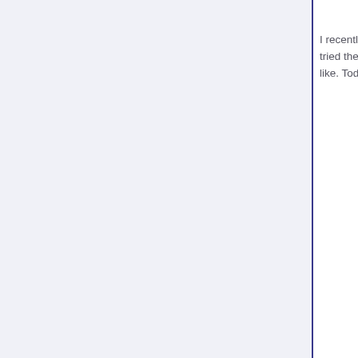I recently tried the je like. Today